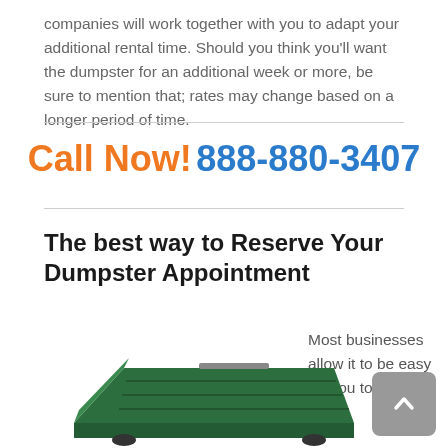companies will work together with you to adapt your additional rental time. Should you think you'll want the dumpster for an additional week or more, be sure to mention that; rates may change based on a longer period of time.
Call Now! 888-880-3407
The best way to Reserve Your Dumpster Appointment
Most businesses allow it to be easy for you to book your
[Figure (photo): A green dumpster/roll-off container photographed at an angle from the side and front, shown on a white background.]